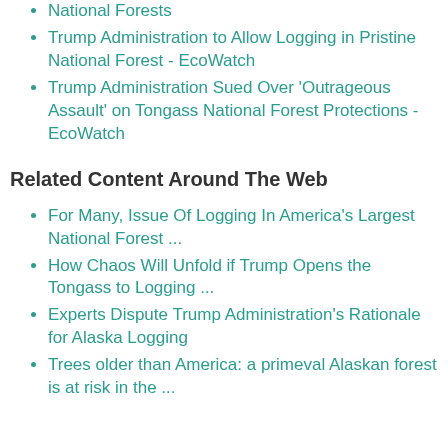National Forests
Trump Administration to Allow Logging in Pristine National Forest - EcoWatch
Trump Administration Sued Over 'Outrageous Assault' on Tongass National Forest Protections - EcoWatch
Related Content Around The Web
For Many, Issue Of Logging In America's Largest National Forest ...
How Chaos Will Unfold if Trump Opens the Tongass to Logging ...
Experts Dispute Trump Administration's Rationale for Alaska Logging
Trees older than America: a primeval Alaskan forest is at risk in the ...